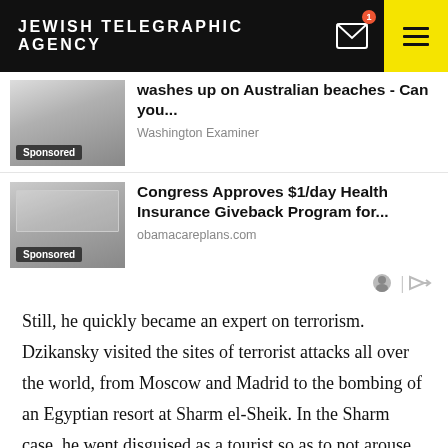JEWISH TELEGRAPHIC AGENCY
[Figure (screenshot): Sponsored ad: 'washes up on Australian beaches - Can you...' from Washington Examiner, with thumbnail image and Sponsored badge]
[Figure (screenshot): Sponsored ad: 'Congress Approves $1/day Health Insurance Giveback Program for...' from obamacareplans.com, with thumbnail image and Sponsored badge]
Still, he quickly became an expert on terrorism. Dzikansky visited the sites of terrorist attacks all over the world, from Moscow and Madrid to the bombing of an Egyptian resort at Sharm el-Sheik. In the Sharm case, he went disguised as a tourist so as to not arouse suspicion among Egyptian officials.